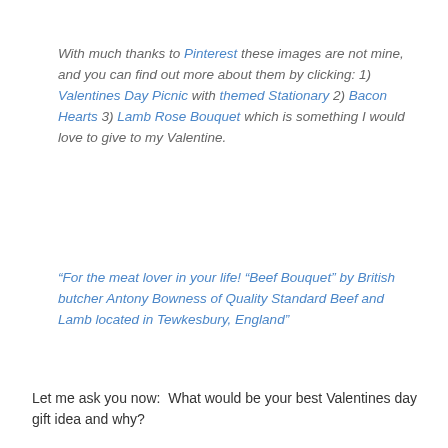With much thanks to Pinterest these images are not mine, and you can find out more about them by clicking: 1) Valentines Day Picnic with themed Stationary 2) Bacon Hearts 3) Lamb Rose Bouquet which is something I would love to give to my Valentine.
“For the meat lover in your life! “Beef Bouquet” by British butcher Antony Bowness of Quality Standard Beef and Lamb located in Tewkesbury, England”
Let me ask you now:  What would be your best Valentines day gift idea and why?